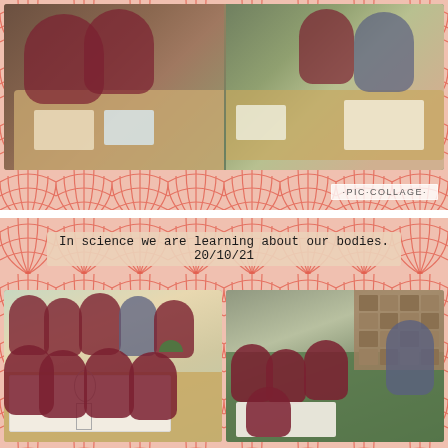[Figure (photo): Collage of two classroom photos showing primary school children in burgundy uniforms working at tables, studying books and materials. A red and white fan/art-deco patterned border surrounds the photos. A 'PIC COLLAGE' watermark appears in the bottom right.]
[Figure (photo): Collage with fan/art-deco pattern background containing text 'In science we are learning about our bodies. 20/10/21' and two photos: left shows a group of primary school children in burgundy uniforms gathered around a large paper on a table drawing a body outline; right shows children sitting on a carpet with a teacher.]
In science we are learning about our bodies.
20/10/21